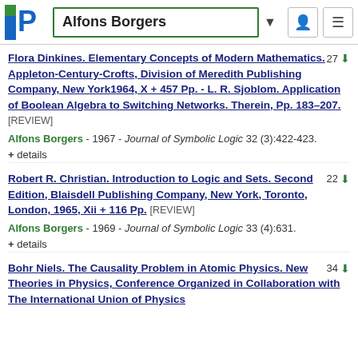Alfons Borgers
Flora Dinkines. Elementary Concepts of Modern Mathematics. Appleton-Century-Crofts, Division of Meredith Publishing Company, New York1964, X + 457 Pp. - L. R. Sjoblom. Application of Boolean Algebra to Switching Networks. Therein, Pp. 183–207. [REVIEW]
Alfons Borgers - 1967 - Journal of Symbolic Logic 32 (3):422-423.
+ details
Robert R. Christian. Introduction to Logic and Sets. Second Edition, Blaisdell Publishing Company, New York, Toronto, London, 1965, Xii + 116 Pp. [REVIEW]
Alfons Borgers - 1969 - Journal of Symbolic Logic 33 (4):631.
+ details
Bohr Niels. The Causality Problem in Atomic Physics. New Theories in Physics, Conference Organized in Collaboration with The International Union of Physics